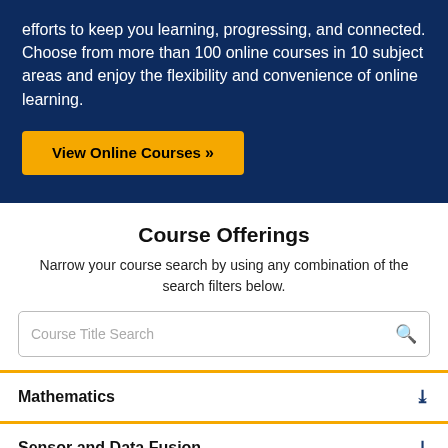efforts to keep you learning, progressing, and connected. Choose from more than 100 online courses in 10 subject areas and enjoy the flexibility and convenience of online learning.
View Online Courses »
Course Offerings
Narrow your course search by using any combination of the search filters below.
Course Title Search
Mathematics
Sensor and Data Fusion